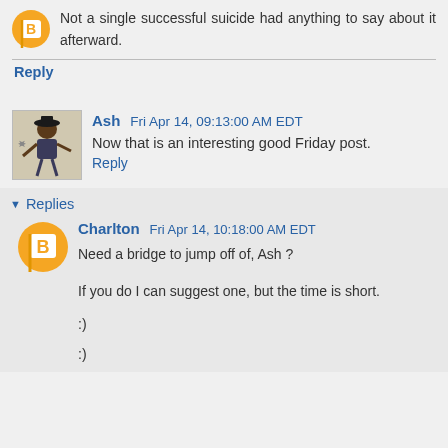Not a single successful suicide had anything to say about it afterward.
Reply
Ash Fri Apr 14, 09:13:00 AM EDT
Now that is an interesting good Friday post.
Reply
Replies
Charlton Fri Apr 14, 10:18:00 AM EDT
Need a bridge to jump off of, Ash ?
If you do I can suggest one, but the time is short.
:)
:)